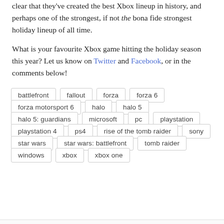clear that they've created the best Xbox lineup in history, and perhaps one of the strongest, if not the bona fide strongest holiday lineup of all time.
What is your favourite Xbox game hitting the holiday season this year? Let us know on Twitter and Facebook, or in the comments below!
battlefront
fallout
forza
forza 6
forza motorsport 6
halo
halo 5
halo 5: guardians
microsoft
pc
playstation
playstation 4
ps4
rise of the tomb raider
sony
star wars
star wars: battlefront
tomb raider
windows
xbox
xbox one